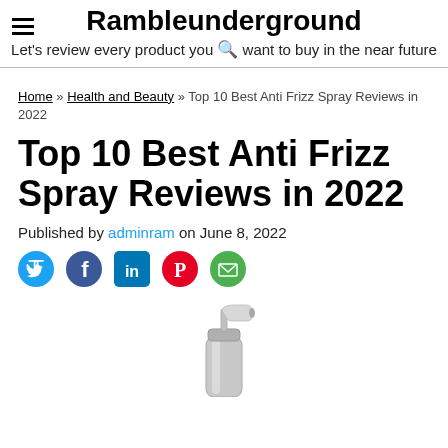Rambleunderground
Let's review every product you want to buy in the near future
Home » Health and Beauty » Top 10 Best Anti Frizz Spray Reviews in 2022
Top 10 Best Anti Frizz Spray Reviews in 2022
Published by adminram on June 8, 2022
[Figure (photo): Social media share icons: Twitter, Facebook, LinkedIn, Pinterest, Email]
[Figure (photo): Anti frizz spray bottle product photo, silver/chrome finish with clear pump top]